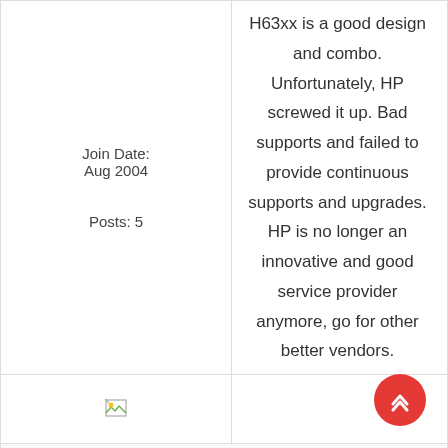| Join Date:
Aug 2004

Posts: 5 | H63xx is a good design and combo. Unfortunately, HP screwed it up. Bad supports and failed to provide continuous supports and upgrades. HP is no longer an innovative and good service provider anymore, go for other better vendors. |
| [image icon] |  |
|  |  |
| 05-14-2005, 05:43 PM | #30 |
|  | con-vinced

Quote: |